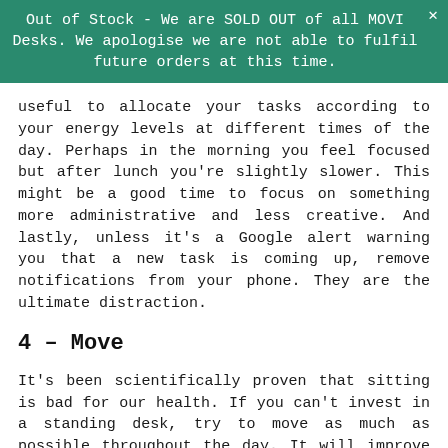Out of Stock - We are SOLD OUT of all MOVI Desks. We apologise we are not able to fulfil future orders at this time.
useful to allocate your tasks according to your energy levels at different times of the day. Perhaps in the morning you feel focused but after lunch you're slightly slower. This might be a good time to focus on something more administrative and less creative. And lastly, unless it's a Google alert warning you that a new task is coming up, remove notifications from your phone. They are the ultimate distraction.
4 – Move
It's been scientifically proven that sitting is bad for our health. If you can't invest in a standing desk, try to move as much as possible throughout the day. It will improve your energy levels and focus, not to mention your wellbeing. Commit to moving as soon as you wake up – a short power walk or stretching is a time efficient way to get some exercise in before you settle in for the working day. Encourage your team to have walking or standing